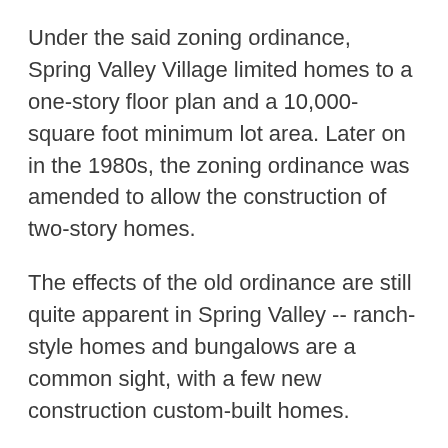Under the said zoning ordinance, Spring Valley Village limited homes to a one-story floor plan and a 10,000-square foot minimum lot area. Later on in the 1980s, the zoning ordinance was amended to allow the construction of two-story homes.
The effects of the old ordinance are still quite apparent in Spring Valley -- ranch-style homes and bungalows are a common sight, with a few new construction custom-built homes.
Spring Valley Village has a 77055 Harris County zip code.
Zip codes near Spring Valley Village TX include: 77024, 77080, 77092, 77043, 77007, 77008, and 77049. (View Houston zip code map.)